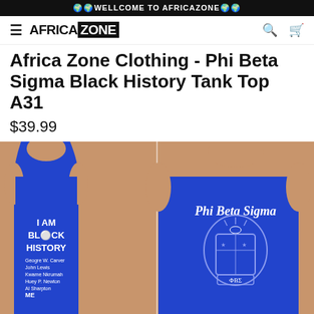🌍🌍WELLCOME TO AFRICAZONE🌍🌍
[Figure (logo): Africa Zone logo with hamburger menu icon on left and search/cart icons on right]
Africa Zone Clothing - Phi Beta Sigma Black History Tank Top A31
$39.99
[Figure (photo): Blue tank top shown front and back. Front reads I AM BLACK HISTORY with names: Geogre W. Carver, John Lewis, Kwame Nkrumah, Huey P. Newton, Al Sharpton, ME. Back shows Phi Beta Sigma in script with fraternity crest/shield logo.]